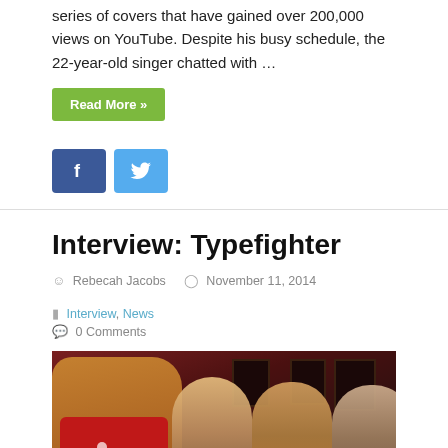series of covers that have gained over 200,000 views on YouTube. Despite his busy schedule, the 22-year-old singer chatted with …
Read More »
[Figure (other): Facebook and Twitter social share buttons]
Interview: Typefighter
Rebecah Jacobs   November 11, 2014   Interview, News   0 Comments
[Figure (photo): Group photo of four men laughing and eating at a table in a bar/restaurant; a figure in a costume (brown and red polka-dot outfit) sits on the left side]